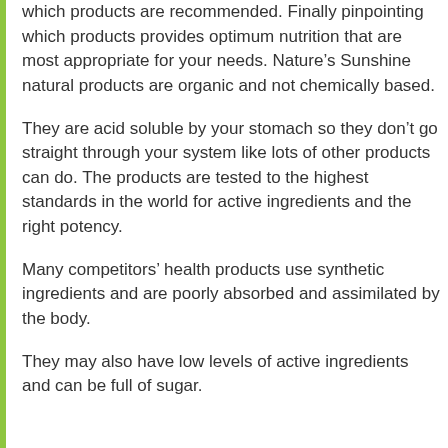which products are recommended. Finally pinpointing which products provides optimum nutrition that are most appropriate for your needs. Nature’s Sunshine natural products are organic and not chemically based.
They are acid soluble by your stomach so they don’t go straight through your system like lots of other products can do. The products are tested to the highest standards in the world for active ingredients and the right potency.
Many competitors’ health products use synthetic ingredients and are poorly absorbed and assimilated by the body.
They may also have low levels of active ingredients and can be full of sugar.